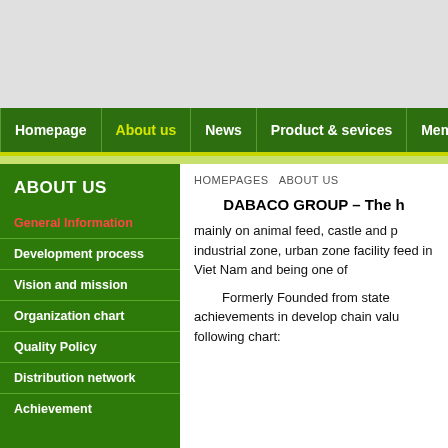[Figure (screenshot): Top grey banner area of website]
Homepage | About us | News | Product & sevices | Membersh
ABOUT US
General Information
Development process
Vision and mission
Organization chart
Quality Policy
Distribution network
Achievement
HOMEPAGES   ABOUT US
DABACO GROUP – The h
mainly on animal feed, castle and p industrial zone, urban zone facility feed in Viet Nam and being one of
Formerly Founded from state achievements in develop chain valu following chart: